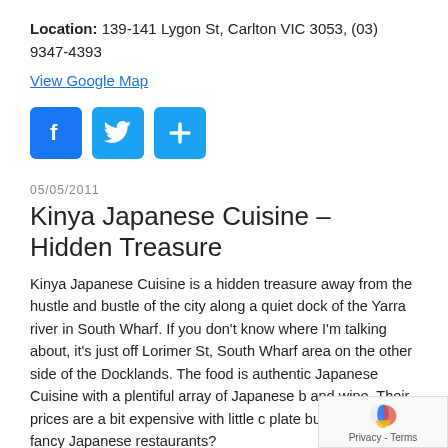Location: 139-141 Lygon St, Carlton VIC 3053, (03) 9347-4393
View Google Map
[Figure (infographic): Three social sharing buttons: Facebook (blue f icon), Twitter (blue bird icon), and a blue plus/share icon]
05/05/2011
Kinya Japanese Cuisine – Hidden Treasure
Kinya Japanese Cuisine is a hidden treasure away from the hustle and bustle of the city along a quiet dock of the Yarra river in South Wharf. If you don't know where I'm talking about, it's just off Lorimer St, South Wharf area on the other side of the Docklands. The food is authentic Japanese Cuisine with a plentiful array of Japanese b... and wine. Their prices are a bit expensive with little c... plate but, aren't all fancy Japanese restaurants?
[Figure (infographic): Google reCAPTCHA Privacy - Terms badge in bottom right corner]